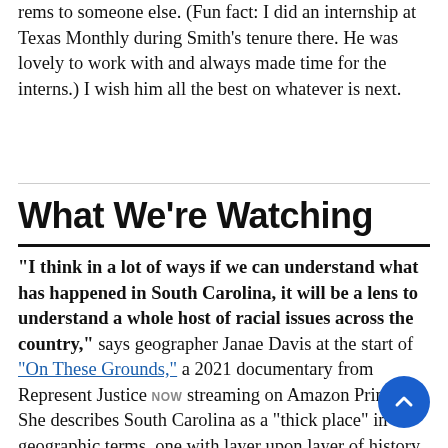rems to someone else. (Fun fact: I did an internship at Texas Monthly during Smith's tenure there. He was lovely to work with and always made time for the interns.) I wish him all the best on whatever is next.
What We're Watching
“I think in a lot of ways if we can understand what has happened in South Carolina, it will be a lens to understand a whole host of racial issues across the country,” says geographer Janae Davis at the start of “On These Grounds,” a 2021 documentary from Represent Justice now streaming on Amazon Prime. She describes South Carolina as a “thick place” in geographic terms, one with layer upon layer of history where